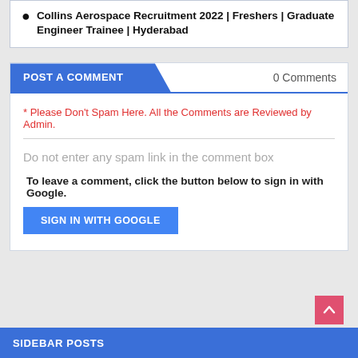Collins Aerospace Recruitment 2022 | Freshers | Graduate Engineer Trainee | Hyderabad
POST A COMMENT
0 Comments
* Please Don't Spam Here. All the Comments are Reviewed by Admin.
Do not enter any spam link in the comment box
To leave a comment, click the button below to sign in with Google.
SIGN IN WITH GOOGLE
SIDEBAR POSTS